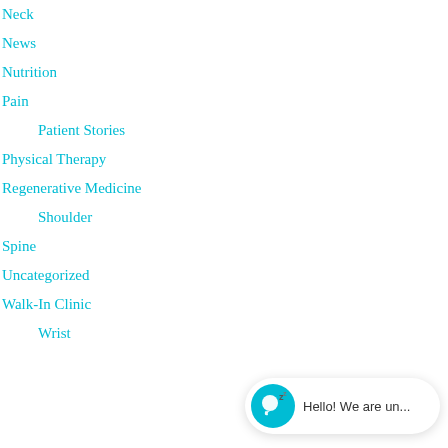Neck
News
Nutrition
Pain
Patient Stories
Physical Therapy
Regenerative Medicine
Shoulder
Spine
Uncategorized
Walk-In Clinic
Wrist
[Figure (screenshot): Chat widget bubble showing sleeping chat icon and text 'Hello! We are un...']